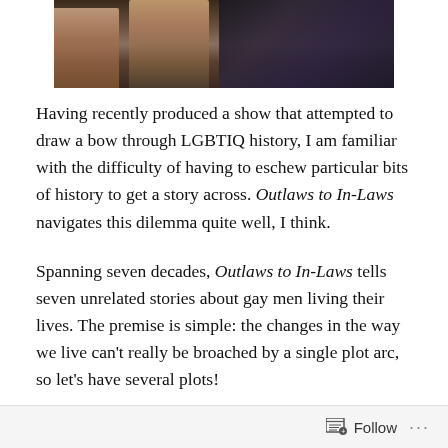[Figure (photo): Partial photo showing figures/people, cropped at top, with dark and warm tones]
Having recently produced a show that attempted to draw a bow through LGBTIQ history, I am familiar with the difficulty of having to eschew particular bits of history to get a story across. Outlaws to In-Laws navigates this dilemma quite well, I think.
Spanning seven decades, Outlaws to In-Laws tells seven unrelated stories about gay men living their lives. The premise is simple: the changes in the way we live can't really be broached by a single plot arc, so let's have several plots!
And the result is remarkable. Each play digs deeply into
Follow  ...